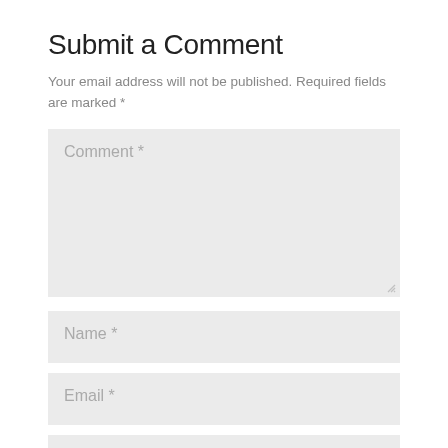Submit a Comment
Your email address will not be published. Required fields are marked *
[Figure (screenshot): Comment text area input field with placeholder text 'Comment *' and resize handle]
[Figure (screenshot): Name input field with placeholder text 'Name *']
[Figure (screenshot): Email input field with placeholder text 'Email *']
[Figure (screenshot): Website input field with placeholder text 'Website' and 'Generated by Feedzy' watermark]